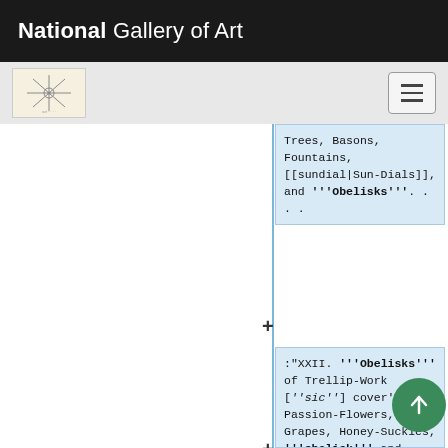National Gallery of Art
[Figure (screenshot): National Gallery of Art website navigation bar with logo thumbnail and hamburger menu button]
Trees, Basons, Fountains, [[sundial|Sun-Dials]], and '''Obelisks'''. . . .
:"XXII. '''Obelisks''' of Trellip-Work [''sic''] cover'd with Passion-Flowers, Grapes, Honey-Suckles, '''obelisk''' and White Jessemine, are beautiful Ornamen the Center of an Plain, [[flower